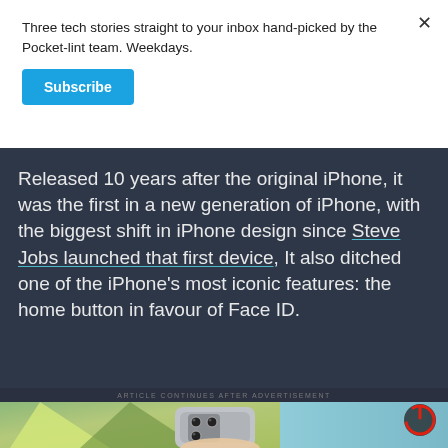Three tech stories straight to your inbox hand-picked by the Pocket-lint team. Weekdays.
Subscribe
Released 10 years after the original iPhone, it was the first in a new generation of iPhone, with the biggest shift in iPhone design since Steve Jobs launched that first device, It also ditched one of the iPhone's most iconic features: the home button in favour of Face ID.
ARTICLE CONTINUES AFTER ADVERTISEMENT
[Figure (photo): Bottom partial image showing a hand holding an iPhone with multiple cameras visible, with colorful paper shapes in background and a red power icon overlay in top right]